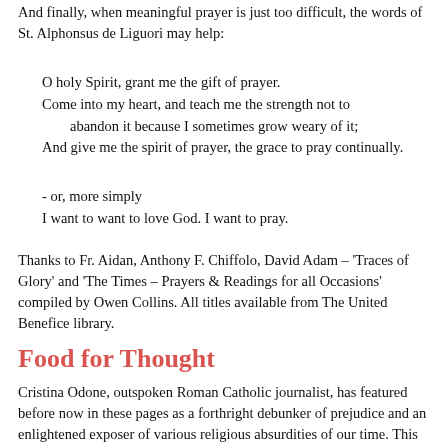And finally, when meaningful prayer is just too difficult, the words of St. Alphonsus de Liguori may help:
O holy Spirit, grant me the gift of prayer.
Come into my heart, and teach me the strength not to
    abandon it because I sometimes grow weary of it;
And give me the spirit of prayer, the grace to pray continually.
- or, more simply
I want to want to love God. I want to pray.
Thanks to Fr. Aidan, Anthony F. Chiffolo, David Adam – 'Traces of Glory' and 'The Times – Prayers & Readings for all Occasions' compiled by Owen Collins. All titles available from The United Benefice library.
Food for Thought
Cristina Odone, outspoken Roman Catholic journalist, has featured before now in these pages as a forthright debunker of prejudice and an enlightened exposer of various religious absurdities of our time. This tongue-in-cheek extract from her Daily Telegraph Notebook won't please everybody…